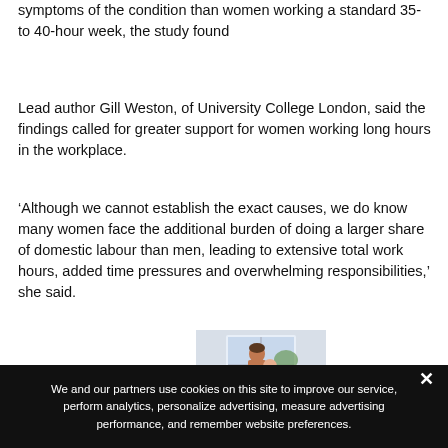symptoms of the condition than women working a standard 35- to 40-hour week, the study found
Lead author Gill Weston, of University College London, said the findings called for greater support for women working long hours in the workplace.
‘Although we cannot establish the exact causes, we do know many women face the additional burden of doing a larger share of domestic labour than men, leading to extensive total work hours, added time pressures and overwhelming responsibilities,’ she said.
[Figure (photo): A woman holding a baby, standing in front of a window, viewed from behind.]
We and our partners use cookies on this site to improve our service, perform analytics, personalize advertising, measure advertising performance, and remember website preferences.